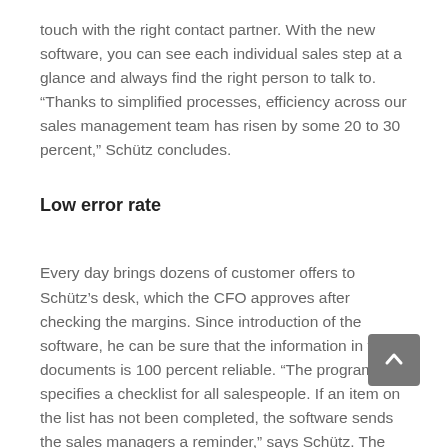touch with the right contact partner. With the new software, you can see each individual sales step at a glance and always find the right person to talk to. “Thanks to simplified processes, efficiency across our sales management team has risen by some 20 to 30 percent,” Schütz concludes.
Low error rate
Every day brings dozens of customer offers to Schütz’s desk, which the CFO approves after checking the margins. Since introduction of the software, he can be sure that the information in these documents is 100 percent reliable. “The program specifies a checklist for all salespeople. If an item on the list has not been completed, the software sends the sales managers a reminder,” says Schütz. The error rate of the overall